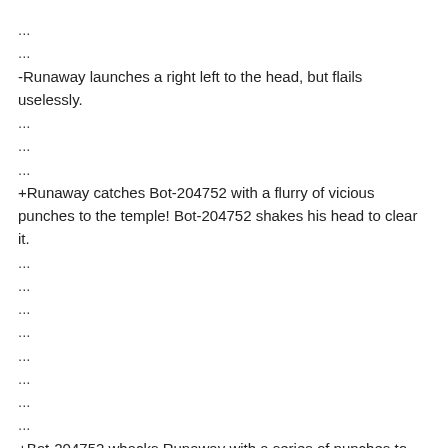...
...
-Runaway launches a right left to the head, but flails uselessly.
...
...
...
+Runaway catches Bot-204752 with a flurry of vicious punches to the temple! Bot-204752 shakes his head to clear it.
...
...
...
...
...
...
...
...
+Bot-204752 whacks Runaway with a series of punches to...